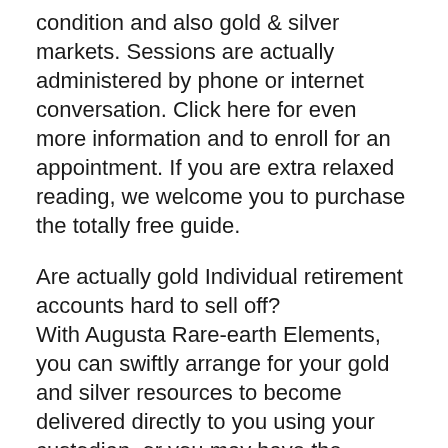condition and also gold & silver markets. Sessions are actually administered by phone or internet conversation. Click here for even more information and to enroll for an appointment. If you are extra relaxed reading, we welcome you to purchase the totally free guide.
Are actually gold Individual retirement accounts hard to sell off?
With Augusta Rare-earth Elements, you can swiftly arrange for your gold and silver resources to become delivered directly to you using your custodian, or you may have the metals taken out in your place, and the funds will definitely be actually wired to you.
If you would certainly as if, you can easily